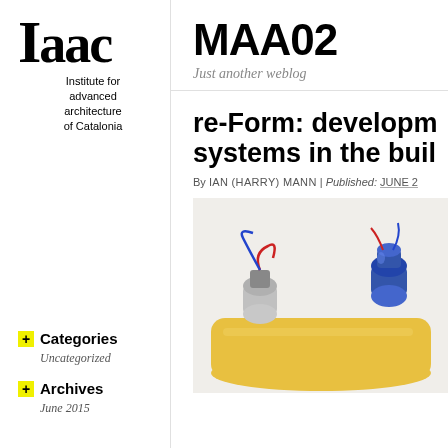[Figure (logo): IAAC logo: stylized 'Iaac' text with serif font, followed by 'Institute for advanced architecture of Catalonia' text below]
MAA02
Just another weblog
+ Categories
Uncategorized
+ Archives
June 2015
re-Form: development of responsive systems in the built environment
By IAN (HARRY) MANN | Published: JUNE 2...
[Figure (photo): Close-up photograph of electronic/robotic components including motors with red and blue wires on a yellow tube/pipe against a white background]